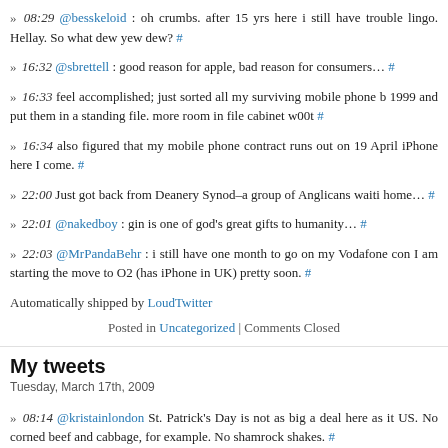» 08:29 @besskeloid : oh crumbs. after 15 yrs here i still have trouble lingo. Hellay. So what dew yew dew? #
» 16:32 @sbrettell : good reason for apple, bad reason for consumers… #
» 16:33 feel accomplished; just sorted all my surviving mobile phone b 1999 and put them in a standing file. more room in file cabinet w00t #
» 16:34 also figured that my mobile phone contract runs out on 19 April iPhone here I come. #
» 22:00 Just got back from Deanery Synod–a group of Anglicans waiti home… #
» 22:01 @nakedboy : gin is one of god's great gifts to humanity… #
» 22:03 @MrPandaBehr : i still have one month to go on my Vodafone con I am starting the move to O2 (has iPhone in UK) pretty soon. #
Automatically shipped by LoudTwitter
Posted in Uncategorized | Comments Closed
My tweets
Tuesday, March 17th, 2009
» 08:14 @kristainlondon St. Patrick's Day is not as big a deal here as it US. No corned beef and cabbage, for example. No shamrock shakes. #